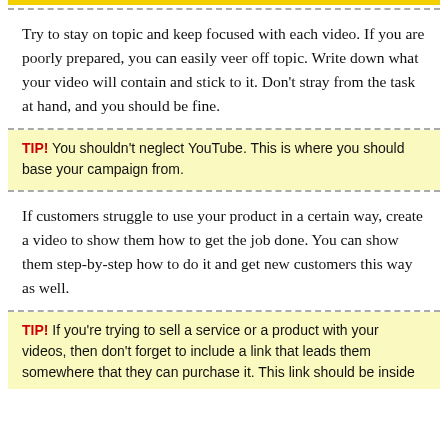Try to stay on topic and keep focused with each video. If you are poorly prepared, you can easily veer off topic. Write down what your video will contain and stick to it. Don't stray from the task at hand, and you should be fine.
TIP! You shouldn't neglect YouTube. This is where you should base your campaign from.
If customers struggle to use your product in a certain way, create a video to show them how to get the job done. You can show them step-by-step how to do it and get new customers this way as well.
TIP! If you're trying to sell a service or a product with your videos, then don't forget to include a link that leads them somewhere that they can purchase it. This link should be inside